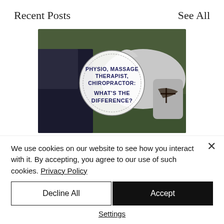Recent Posts
See All
[Figure (photo): Photo of a person standing beside a grey horse outdoors on grass, with a circular badge overlay reading 'PHYSIO, MASSAGE THERAPIST, CHIROPRACTOR: WHAT'S THE DIFFERENCE?']
Physio, Massage Therapist
We use cookies on our website to see how you interact with it. By accepting, you agree to our use of such cookies. Privacy Policy
Decline All
Accept
Settings